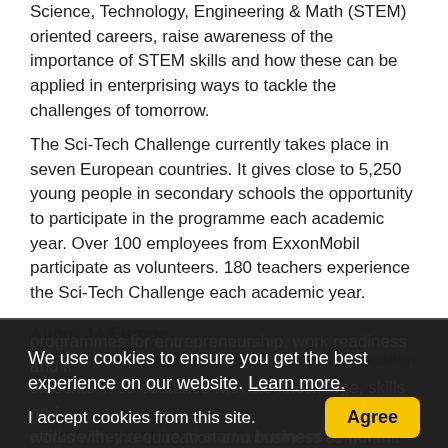Science, Technology, Engineering & Math (STEM) oriented careers, raise awareness of the importance of STEM skills and how these can be applied in enterprising ways to tackle the challenges of tomorrow.
The Sci-Tech Challenge currently takes place in seven European countries. It gives close to 5,250 young people in secondary schools the opportunity to participate in the programme each academic year. Over 100 employees from ExxonMobil participate as volunteers. 180 teachers experience the Sci-Tech Challenge each academic year.
About JA Europe
JA Europe is Europe's largest provider of education programmes for entrepreneurship, work readiness and fi...
students in 39 countries with the knowledge, skills and attitude they require to start a business or get a... works with the education and business communit...
We use cookies to ensure you get the best experience on our website. Learn more.
I accept cookies from this site.
Agree